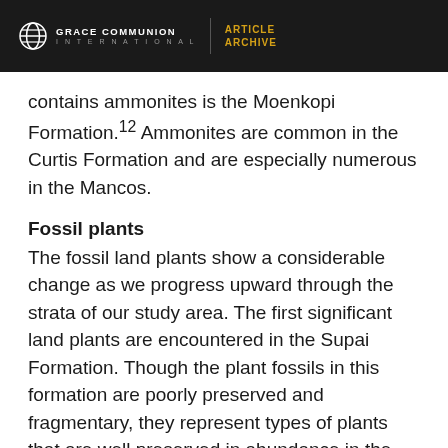GRACE COMMUNION INTERNATIONAL | ARTICLE ARCHIVE
contains ammonites is the Moenkopi Formation.¹² Ammonites are common in the Curtis Formation and are especially numerous in the Mancos.
Fossil plants
The fossil land plants show a considerable change as we progress upward through the strata of our study area. The first significant land plants are encountered in the Supai Formation. Though the plant fossils in this formation are poorly preserved and fragmentary, they represent types of plants that are well preserved in abundance in the coal beds in other parts of the world.